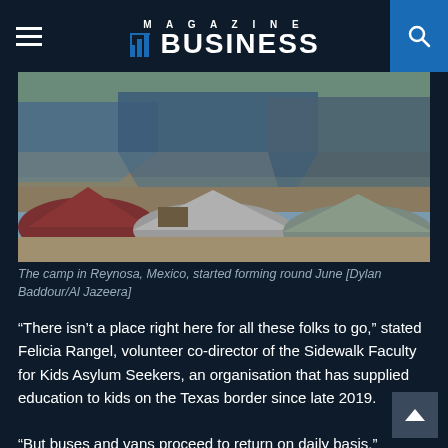MAGAZINE BUSINESS
[Figure (photo): A refugee/migrant camp with multiple tents crowded together, tarps overhead, in Reynosa, Mexico]
The camp in Reynosa, Mexico, started forming round June [Dylan Baddour/Al Jazeera]
“There isn’t a place right here for all these folks to go,” stated Felicia Rangel, volunteer co-director of the Sidewalk Faculty for Kids Asylum Seekers, an organisation that has supplied education to kids on the Texas border since late 2019.
“But buses and vans proceed to return on daily basis,” Rangel informed Al Jazeera in an interview, i...